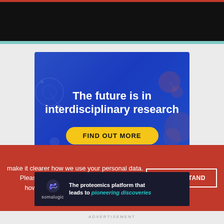[Figure (illustration): Dark black top banner with red top border, representing a website header area]
[Figure (illustration): Blue advertisement banner reading 'The future is in interdisciplinary research' with a yellow 'FIND OUT MORE' button]
make it clearer how we use your personal data. Please read our Cookie Policy to learn how we use cookies to provide you
I UNDERSTAND
[Figure (illustration): Somalogic ad: 'The proteomics platform that leads to pioneering discoveries']
ADVERTISEMENT